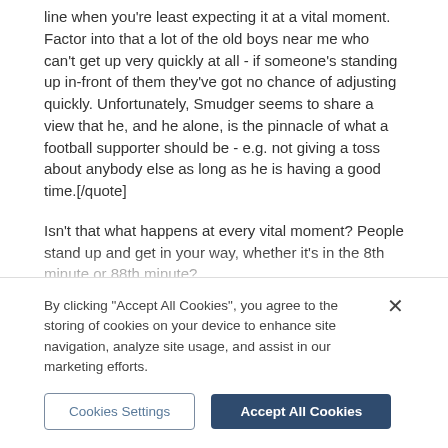line when you're least expecting it at a vital moment. Factor into that a lot of the old boys near me who can't get up very quickly at all - if someone's standing up in-front of them they've got no chance of adjusting quickly. Unfortunately, Smudger seems to share a view that he, and he alone, is the pinnacle of what a football supporter should be - e.g. not giving a toss about anybody else as long as he is having a good time.[/quote]
Isn't that what happens at every vital moment? People stand up and get in your way, whether it's in the 8th minute or 88th minute?
I feel for the older fans that do not have the ability to leap up like some of the whippersnappers in the ground but the fact of the matter is, it happens at every single vital moment. You are basically saying that everyone has to sit for the whole game to be considerate of their fellow
By clicking "Accept All Cookies", you agree to the storing of cookies on your device to enhance site navigation, analyze site usage, and assist in our marketing efforts.
Cookies Settings
Accept All Cookies